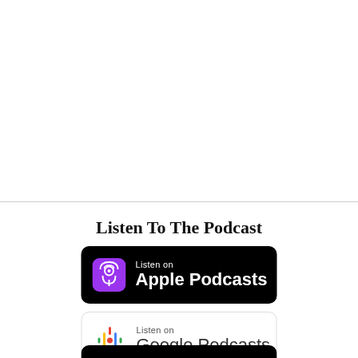Listen To The Podcast
[Figure (logo): Listen on Apple Podcasts badge - black rounded rectangle with purple podcast icon and white text]
[Figure (logo): Listen on Google Podcasts badge - white rounded rectangle with Google Podcasts colorful icon and dark text]
[Figure (logo): Spotify badge - black rounded rectangle, partially visible at bottom of page]